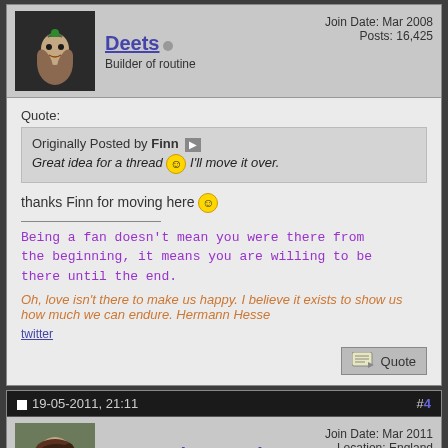Deets — Builder of routine — Join Date: Mar 2008 — Posts: 16,425
Quote: Originally Posted by Finn — Great idea for a thread :) I'll move it over.
thanks Finn for moving here :)
Being a fan doesn't mean you were there from the beginning, it means you are willing to be there until the end.
Oh, love isn't there to make us happy. I believe it exists to show us how much we can endure. Hermann Hesse
twitter
19-05-2011, 21:11 — #4
meganslastwords — Knowlede Is Power — Join Date: Mar 2011 — Location: England — Age: 27 — Posts: 1,266
what relevance does nicky swimming in the empty souls video bear to anything? :L